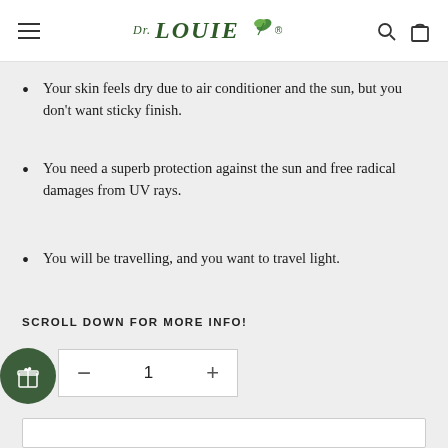Dr. LOUIE [logo with leaf icon]
Your skin feels dry due to air conditioner and the sun, but you don't want sticky finish.
You need a superb protection against the sun and free radical damages from UV rays.
You will be travelling, and you want to travel light.
SCROLL DOWN FOR MORE INFO!
1 (quantity selector)